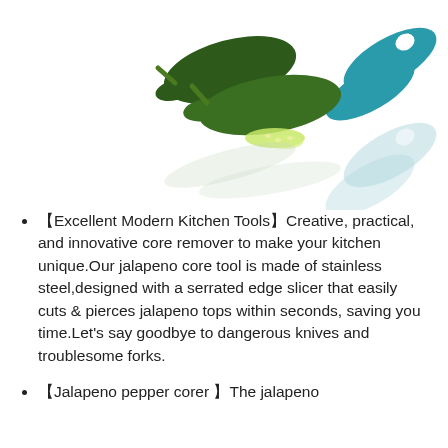[Figure (photo): Photo of two dark green jalapeño peppers with seeds/innards removed shown in foreground, and a teal/blue jalapeno corer tool partially visible on the right side, with reflections visible below on white background.]
【Excellent Modern Kitchen Tools】Creative, practical, and innovative core remover to make your kitchen unique.Our jalapeno core tool is made of stainless steel,designed with a serrated edge slicer that easily cuts & pierces jalapeno tops within seconds, saving you time.Let's say goodbye to dangerous knives and troublesome forks.
【Jalapeno pepper corer 】The jalapeno